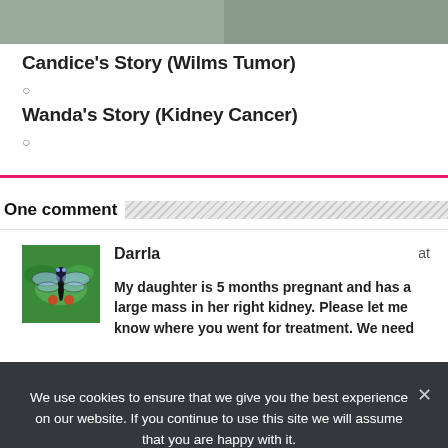[Figure (photo): Two cropped photos side by side showing people, partially cut off at top of page]
Candice's Story (Wilms Tumor)
⊙
Wanda's Story (Kidney Cancer)
⊙
One comment
[Figure (photo): Photo of a dragonfly on green leaves, used as commenter avatar]
Darrla
at
My daughter is 5 months pregnant and has a large mass in her right kidney. Please let me know where you went for treatment. We need
We use cookies to ensure that we give you the best experience on our website. If you continue to use this site we will assume that you are happy with it.